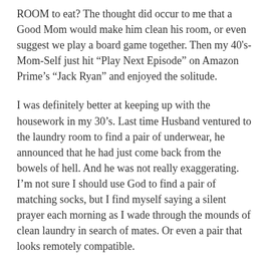ROOM to eat? The thought did occur to me that a Good Mom would make him clean his room, or even suggest we play a board game together. Then my 40's-Mom-Self just hit “Play Next Episode” on Amazon Prime’s “Jack Ryan” and enjoyed the solitude.
I was definitely better at keeping up with the housework in my 30’s. Last time Husband ventured to the laundry room to find a pair of underwear, he announced that he had just come back from the bowels of hell. And he was not really exaggerating. I’m not sure I should use God to find a pair of matching socks, but I find myself saying a silent prayer each morning as I wade through the mounds of clean laundry in search of mates. Or even a pair that looks remotely compatible.
But what it’s become abundantly evident that I was better at in my 30’s is cooking and baking. I honestly wonder if something happened to me, like some yet-to-be-discovered disease or neurological disorder that